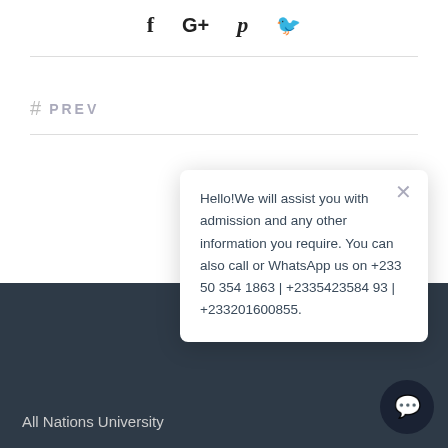[Figure (other): Social media share icons: Facebook (f), Google+ (G+), Pinterest (p), Twitter (bird icon)]
# PREV
Hello!We will assist you with admission and any other information you require. You can also call or WhatsApp us on +233 50 354 1863 | +2335423584 93 | +233201600855.
All Nations University